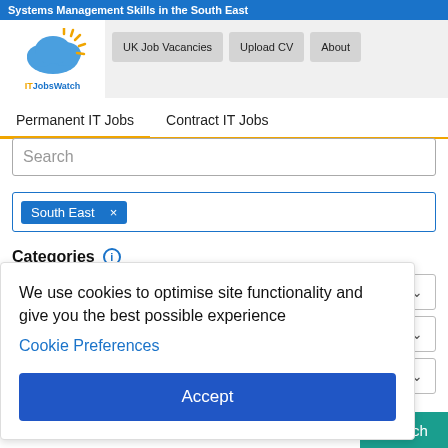Systems Management Skills in the South East
[Figure (logo): ITJobsWatch cloud logo with sun rays, orange and blue]
UK Job Vacancies | Upload CV | About
Permanent IT Jobs | Contract IT Jobs
Search
South East ×
Categories ⓘ
We use cookies to optimise site functionality and give you the best possible experience
Cookie Preferences
Accept
Search